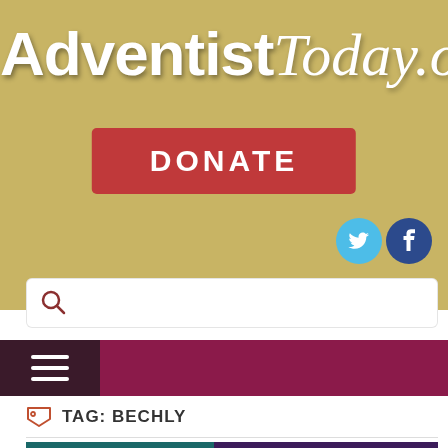AdventistToday.org
[Figure (screenshot): DONATE button in red/crimson color]
[Figure (screenshot): Social media icons: Twitter (light blue circle) and Facebook (dark blue circle)]
[Figure (screenshot): Search bar with magnifying glass icon]
[Figure (screenshot): Navigation bar with hamburger menu icon on dark maroon background]
TAG: BECHLY
[Figure (screenshot): Article preview image with text 'Günter Bechly:']